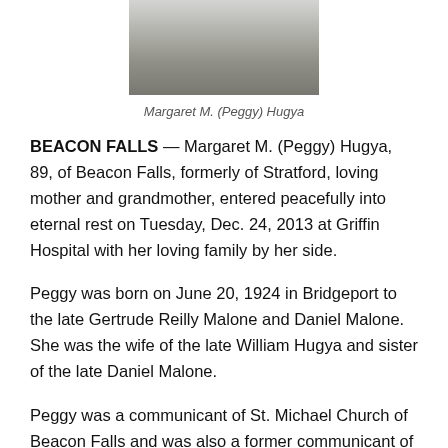[Figure (photo): Partial photograph of Margaret M. (Peggy) Hugya, showing the top portion of the image cropped at the top of the page]
Margaret M. (Peggy) Hugya
BEACON FALLS — Margaret M. (Peggy) Hugya, 89, of Beacon Falls, formerly of Stratford, loving mother and grandmother, entered peacefully into eternal rest on Tuesday, Dec. 24, 2013 at Griffin Hospital with her loving family by her side.
Peggy was born on June 20, 1924 in Bridgeport to the late Gertrude Reilly Malone and Daniel Malone. She was the wife of the late William Hugya and sister of the late Daniel Malone.
Peggy was a communicant of St. Michael Church of Beacon Falls and was also a former communicant of St. Mark Church of Stratford. She devoted her life to helping and educating others, especially those in need. Peggy obtained